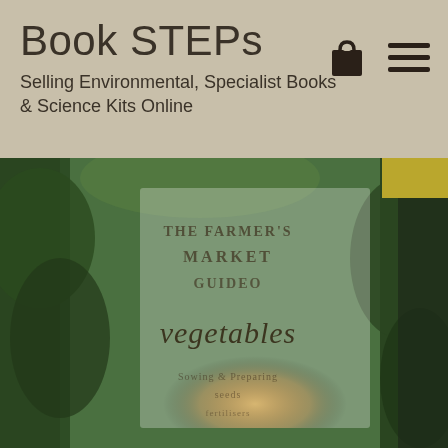Book STEPs
Selling Environmental, Specialist Books & Science Kits Online
[Figure (photo): A blurred book cover or signage showing text including 'THE FARMER'S MARKET GUIDEO vegetables' surrounded by green foliage/plants, with a warm glowing center. A small yellow rectangle is visible in the top-right corner.]